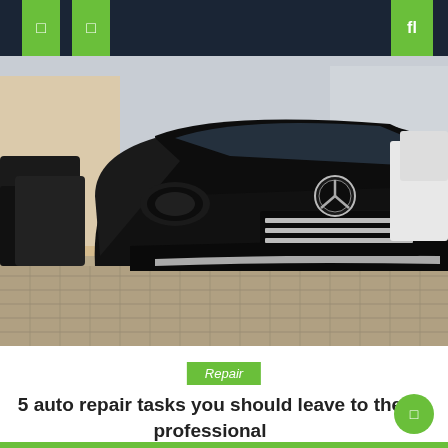☰ ☰ fl
[Figure (photo): A black Mercedes-Benz GLC SUV parked at the front of a row of vehicles at a dealership, photographed from the front-left angle. The vehicle has chrome grille accents and the Mercedes three-pointed star logo. Behind it, more dark-colored vehicles are visible on the left and white/silver vehicles on the right. The ground is paved with brick-pattern tiles.]
Repair
5 auto repair tasks you should leave to the professional